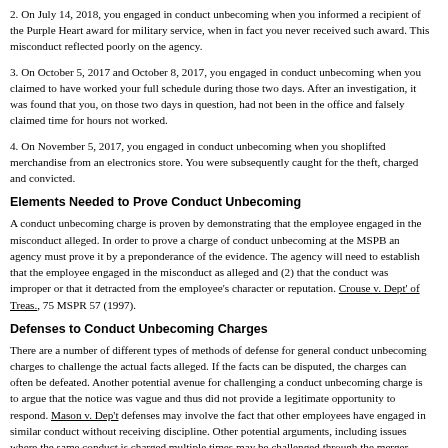2. On July 14, 2018, you engaged in conduct unbecoming when you informed a recipient of the Purple Heart award for military service, when in fact you never received such award. This misconduct reflected poorly on the agency.
3. On October 5, 2017 and October 8, 2017, you engaged in conduct unbecoming when you claimed to have worked your full schedule during those two days. After an investigation, it was found that you, on those two days in question, had not been in the office and falsely claimed time for hours not worked.
4. On November 5, 2017, you engaged in conduct unbecoming when you shoplifted merchandise from an electronics store. You were subsequently caught for the theft, charged and convicted.
Elements Needed to Prove Conduct Unbecoming
A conduct unbecoming charge is proven by demonstrating that the employee engaged in the misconduct alleged. In order to prove a charge of conduct unbecoming at the MSPB an agency must prove it by a preponderance of the evidence. The agency will need to establish that the employee engaged in the misconduct as alleged and (2) that the conduct was improper or that it detracted from the employee's character or reputation. Crouse v. Dept' of Treas., 75 MSPR 57 (1997).
Defenses to Conduct Unbecoming Charges
There are a number of different types of methods of defense for general conduct unbecoming charges to challenge the actual facts alleged. If the facts can be disputed, the charges can often be defeated. Another potential avenue for challenging a conduct unbecoming charge is to argue that the notice was vague and thus did not provide a legitimate opportunity to respond. Mason v. Dep't defenses may involve the fact that other employees have engaged in similar conduct without receiving discipline. Other potential arguments, including issues where the same conduct is charged multiple times may be challenged through the merger doctrine (the concept that the same conduct cannot be charged two times in the same manner). The number of potential defenses to a conduct unbecoming charge may require the assistance of a attorney knowledgeable in federal employment law.
Conclusion
In sum, when facing a conduct unbecoming charge it is very important to retain legal counsel. The MSPB. Our law firm represents federal employees before the MSPB and can